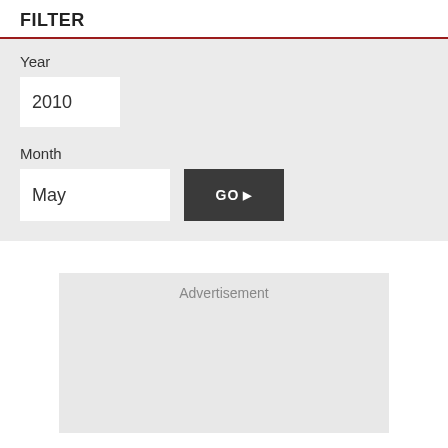FILTER
Year
2010
Month
May
GO ▶
Advertisement